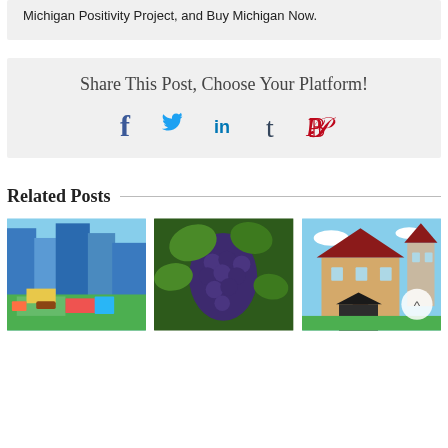Michigan Positivity Project, and Buy Michigan Now.
Share This Post, Choose Your Platform!
[Figure (infographic): Social media share icons: Facebook (f), Twitter (bird), LinkedIn (in), Tumblr (t), Pinterest (P)]
Related Posts
[Figure (photo): Colorful mini golf course with city buildings in background]
[Figure (photo): Close-up of dark grapes on vine with green leaves]
[Figure (photo): Bavarian-style building with a small dark shed in foreground]